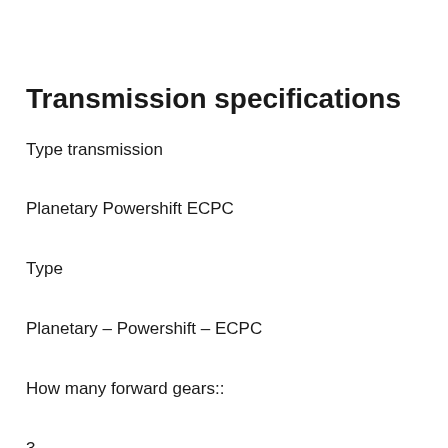Transmission specifications
Type transmission
Planetary Powershift ECPC
Type
Planetary – Powershift – ECPC
How many forward gears::
3
How many reverse gears::